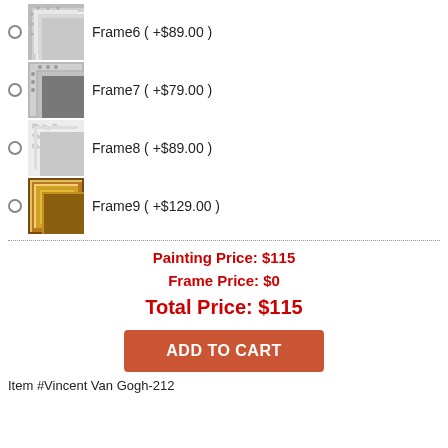Frame6 ( +$89.00 )
Frame7 ( +$79.00 )
Frame8 ( +$89.00 )
Frame9 ( +$129.00 )
Painting Price: $115
Frame Price: $0
Total Price: $115
ADD TO CART
Item #Vincent Van Gogh-212